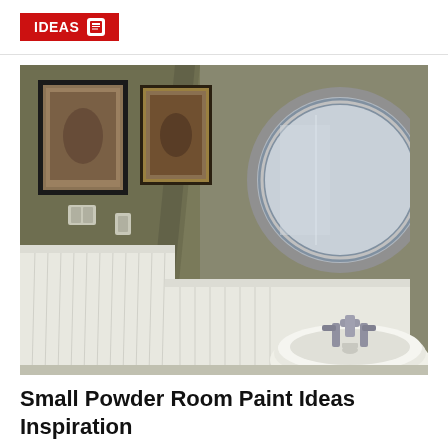IDEAS
[Figure (photo): Interior photo of a small powder room bathroom with olive/sage green painted walls above white beadboard wainscoting, two framed art pieces on the wall, a round mirror with chrome frame, and a white pedestal sink with chrome faucet in the corner.]
Small Powder Room Paint Ideas Inspiration